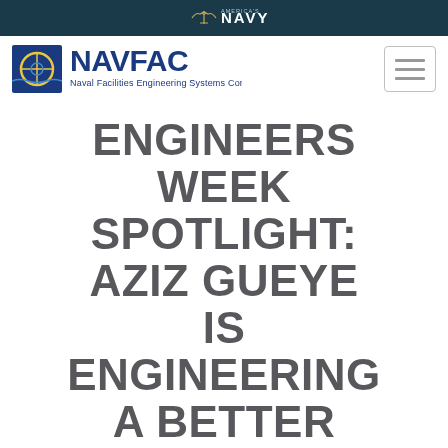AMERICA'S NAVY
[Figure (logo): NAVFAC - Naval Facilities Engineering Systems Command logo with blue target/crosshair icon and blue text]
[Figure (other): Hamburger menu icon - three horizontal lines in a rounded rectangle border]
ENGINEERS WEEK SPOTLIGHT: AZIZ GUEYE IS ENGINEERING A BETTER LIFE FOR